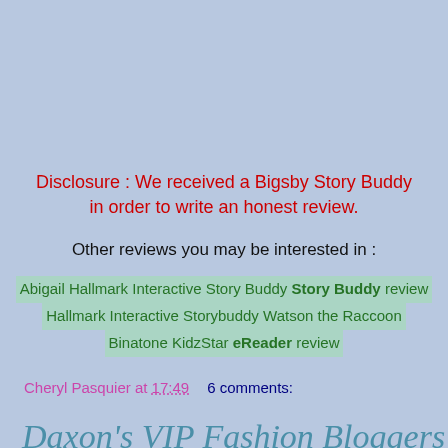Disclosure : We received a Bigsby Story Buddy in order to write an honest review.
Other reviews you may be interested in :
Abigail Hallmark Interactive Story Buddy review
Hallmark Interactive Storybuddy Watson the Raccoon
Binatone KidzStar eReader review
Cheryl Pasquier at 17:49    6 comments:
Daxon's VIP Fashion Bloggers